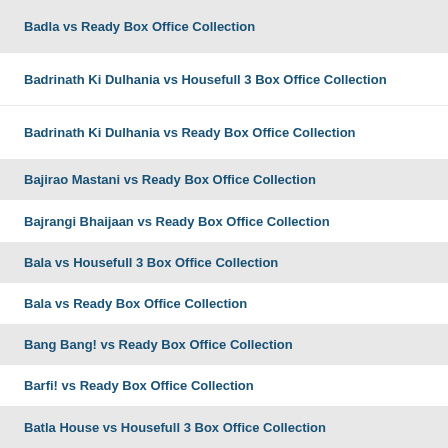Badla vs Ready Box Office Collection
Badrinath Ki Dulhania vs Housefull 3 Box Office Collection
Badrinath Ki Dulhania vs Ready Box Office Collection
Bajirao Mastani vs Ready Box Office Collection
Bajrangi Bhaijaan vs Ready Box Office Collection
Bala vs Housefull 3 Box Office Collection
Bala vs Ready Box Office Collection
Bang Bang! vs Ready Box Office Collection
Barfi! vs Ready Box Office Collection
Batla House vs Housefull 3 Box Office Collection